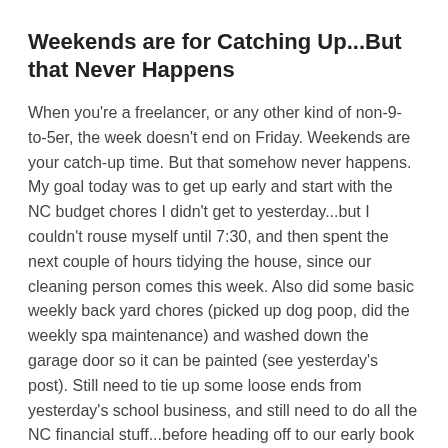Weekends are for Catching Up...But that Never Happens
When you're a freelancer, or any other kind of non-9-to-5er, the week doesn't end on Friday. Weekends are your catch-up time. But that somehow never happens. My goal today was to get up early and start with the NC budget chores I didn't get to yesterday...but I couldn't rouse myself until 7:30, and then spent the next couple of hours tidying the house, since our cleaning person comes this week. Also did some basic weekly back yard chores (picked up dog poop, did the weekly spa maintenance) and washed down the garage door so it can be painted (see yesterday's post). Still need to tie up some loose ends from yesterday's school business, and still need to do all the NC financial stuff...before heading off to our early book group meeting at 1:45 (which will eat up the rest of the day). Other things that need to be done this weekend include distributing neighborhood association newsletters and event flyers on our street, and chasing down one last signature for that long-overdue traffic petition.